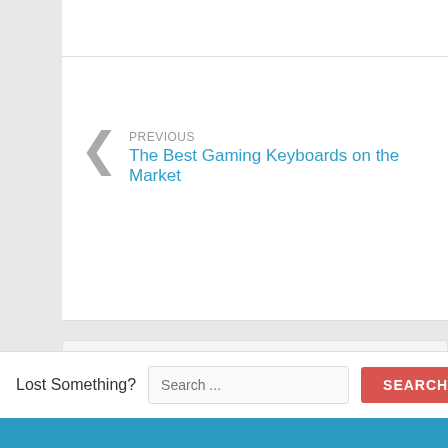PREVIOUS
The Best Gaming Keyboards on the Market
[Figure (illustration): Author profile card with avatar silhouette icon, author name JAMES, a blue pin button showing 592, and an orange RSS feed button]
Lost Something?
Search ...
SEARCH